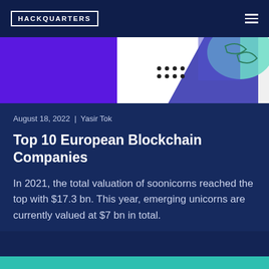HACKQUARTERS
[Figure (illustration): Decorative banner with purple and teal geometric shapes on white background with dot pattern]
August 18, 2022  |  Yasir Tok
Top 10 European Blockchain Companies
In 2021, the total valuation of soonicorns reached the top with $17.3 bn. This year, emerging unicorns are currently valued at $7 bn in total.